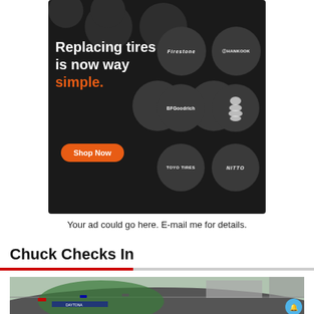[Figure (photo): Advertisement for tire shop with dark background showing multiple tire brand logos (Bridgestone, Pirelli, Firestone, Hankook, BFGoodrich, Michelin, Toyo Tires, Nitto) in circular buttons, text 'Replacing tires is now way simple.' with 'Shop Now' orange button]
Your ad could go here. E-mail me for details.
Chuck Checks In
[Figure (photo): NASCAR race track aerial/wide shot showing cars racing on a banked oval track with grandstands visible]